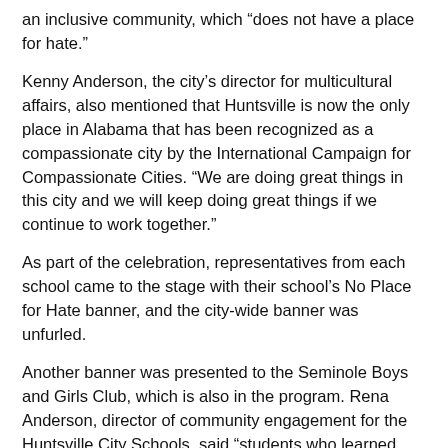an inclusive community, which “does not have a place for hate.”
Kenny Anderson, the city’s director for multicultural affairs, also mentioned that Huntsville is now the only place in Alabama that has been recognized as a compassionate city by the International Campaign for Compassionate Cities. “We are doing great things in this city and we will keep doing great things if we continue to work together.”
As part of the celebration, representatives from each school came to the stage with their school’s No Place for Hate banner, and the city-wide banner was unfurled.
Another banner was presented to the Seminole Boys and Girls Club, which is also in the program. Rena Anderson, director of community engagement for the Huntsville City Schools, said “students who learned about the program took it to the Boys and Girls Club and said we want to do it here.”
Representatives from Weatherly Elementary and Grissom made presentations about their programs. Last November, four Grissom students spoke on “Mobilizing Students to Lead Bullying Prevention and Diversity Education Initiatives” at the International Bullying Prevention Association Conference in Nashville.